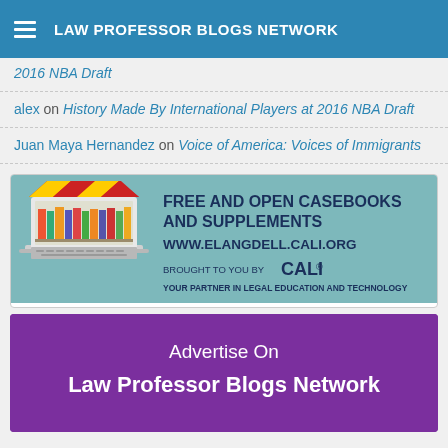LAW PROFESSOR BLOGS NETWORK
2016 NBA Draft
alex on History Made By International Players at 2016 NBA Draft
Juan Maya Hernandez on Voice of America: Voices of Immigrants
[Figure (advertisement): CALI eLangdell ad: Free and Open Casebooks and Supplements, www.elangdell.cali.org, brought to you by CALI, Your Partner in Legal Education and Technology]
[Figure (advertisement): Advertise On Law Professor Blogs Network ad with purple background]